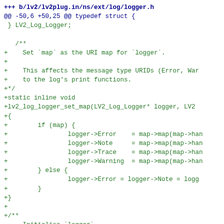diff --git a/lv2/lv2plug.in/ns/ext/log/logger.h b/lv2/lv2plug.in/ns/ext/log/logger.h
@@ -50,6 +50,25 @@ typedef struct {
 } LV2_Log_Logger;

   /**
+    Set `map` as the URI map for `logger`.
+
+    This affects the message type URIDs (Error, War
+    to the log's print functions.
+*/
+static inline void
+lv2_log_logger_set_map(LV2_Log_Logger* logger, LV2
+{
+        if (map) {
+                logger->Error    = map->map(map->han
+                logger->Note     = map->map(map->han
+                logger->Trace    = map->map(map->han
+                logger->Warning  = map->map(map->han
+        } else {
+                logger->Error = logger->Note = logg
+        }
+}
+
+/**
     Initialise `logger`.

     URIs will be mapped using `map` and stored, a r
@@ -61,14 +80,8 @@ lv2_log_logger_init(LV2_Log_Logg
                 LV2_URID_Map*    map,
                 LV2_Log_Log*     log)